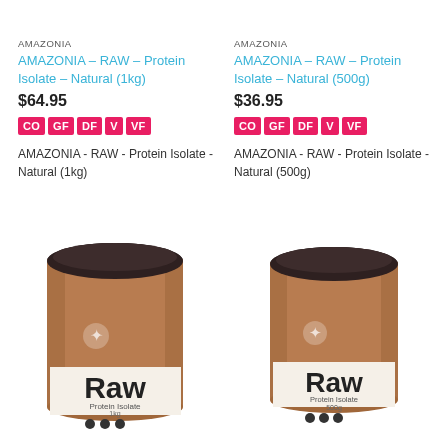AMAZONIA
AMAZONIA – RAW – Protein Isolate – Natural (1kg)
$64.95
CO GF DF V VF
AMAZONIA - RAW - Protein Isolate - Natural (1kg)
AMAZONIA
AMAZONIA – RAW – Protein Isolate – Natural (500g)
$36.95
CO GF DF V VF
AMAZONIA - RAW - Protein Isolate - Natural (500g)
[Figure (photo): Amazonia RAW Protein Isolate 1kg container with brown kraft paper label showing 'Raw' in large text and 'Protein Isolate' below]
[Figure (photo): Amazonia RAW Protein Isolate 500g container with brown kraft paper label showing 'Raw' in large text and 'Protein Isolate' below]